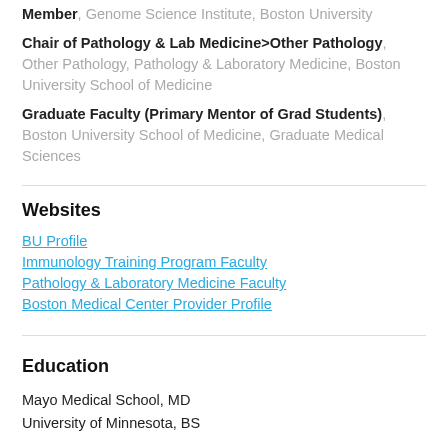Member, Genome Science Institute, Boston University
Chair of Pathology & Lab Medicine>Other Pathology, Other Pathology, Pathology & Laboratory Medicine, Boston University School of Medicine
Graduate Faculty (Primary Mentor of Grad Students), Boston University School of Medicine, Graduate Medical Sciences
Websites
BU Profile
Immunology Training Program Faculty
Pathology & Laboratory Medicine Faculty
Boston Medical Center Provider Profile
Education
Mayo Medical School, MD
University of Minnesota, BS